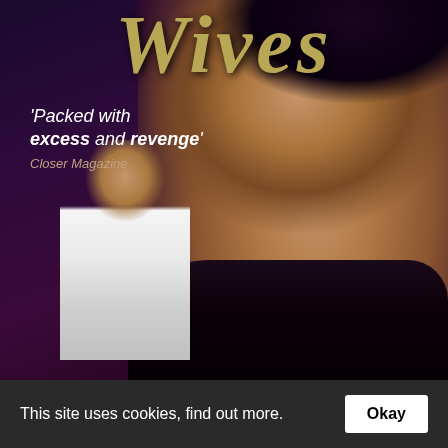[Figure (photo): Book cover for 'Wives' showing two glamorous women — a large closeup of a brunette woman in a black strapless dress in the foreground (right side), and a second woman in a white dress smaller in the background (left side), against a dark purple background. Title 'Wives' appears at the top in gold italic text, with a quote 'Packed with excess and revenge' – Closer Magazine.]
This site uses cookies, find out more.
Okay